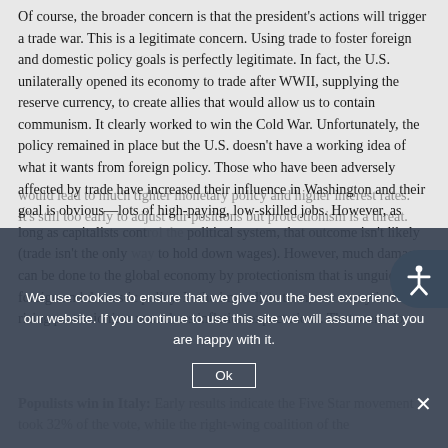Of course, the broader concern is that the president's actions will trigger a trade war. This is a legitimate concern. Using trade to foster foreign and domestic policy goals is perfectly legitimate. In fact, the U.S. unilaterally opened its economy to trade after WWII, supplying the reserve currency, to create allies that would allow us to contain communism. It clearly worked to win the Cold War. Unfortunately, the policy remained in place but the U.S. doesn't have a working idea of what it wants from foreign policy. Those who have been adversely affected by trade have increased their influence in Washington and their goal is obvious—lots of high-paying, low-skilled jobs. However, as long as capitalists control the political system, that outcome isn't likely (trade isn't the only way to hold down wages). However, much damage can be done to the global economy by protectionism that is unguided by foreign and domestic policy. In the immediate term, our worry is that rising protectionism unanchors inflation expectations. That scenario would lead to much tighter monetary policy and higher interest rates. It's still too early to adjust our positions but protectionism is a threat.
We use cookies to ensure that we give you the best experience on our website. If you continue to use this site we will assume that you are happy with it.
Populists win in Italy: Early results indicate the Five Star movement took 32% of the vote, while the right-wing coalition of the